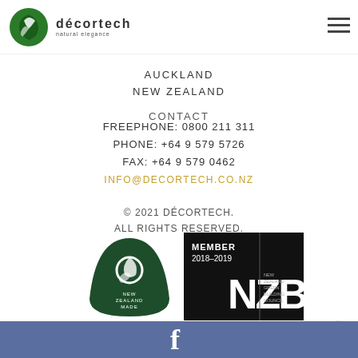[Figure (logo): Décortech natural elegance logo with green circular emblem on the left of the header]
AUCKLAND
NEW ZEALAND
CONTACT
FREEPHONE: 0800 211 311
PHONE: +64 9 579 5726
FAX: +64 9 579 0462
INFO@DECORTECH.CO.NZ
© 2021 DÉCORTECH.
ALL RIGHTS RESERVED.
[Figure (logo): New Zealand Made dark green triangular badge logo]
[Figure (logo): NZGBC Member 2018-2019 black badge logo]
CHOOSE THE WEB GUYS FOR AUCKLAND WEBSITE DESIGN
Facebook icon in blue footer bar